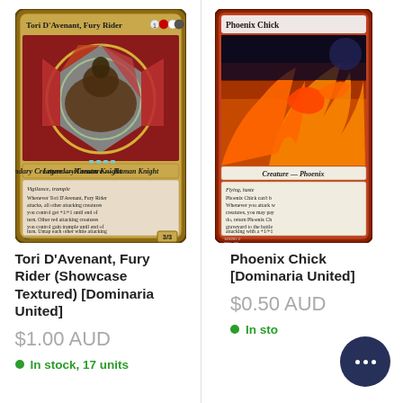[Figure (photo): Magic: The Gathering card — Tori D'Avenant, Fury Rider (Showcase Textured) [Dominaria United]. Stained glass art style showing a knight on horseback. Card text: Vigilance, trample. Whenever Tori D'Avenant, Fury Rider attacks, all other attacking creatures you control get +1/+1 until end of turn. Other red attacking creatures you control gain trample until end of turn. Untap each other white attacking creature you control. 3/3]
Tori D'Avenant, Fury Rider (Showcase Textured) [Dominaria United]
$1.00 AUD
In stock, 17 units
[Figure (photo): Magic: The Gathering card — Phoenix Chick [Dominaria United]. Art shows a small phoenix bird engulfed in orange flames. Card text: Flying, haste. Phoenix Chick can't b... Whenever you attack w... creatures, you may pay... do, return Phoenix Ch... graveyard to the battle... attacking with a +1/+1...]
Phoenix Chick [Dominaria United]
$0.50 AUD
In sto...